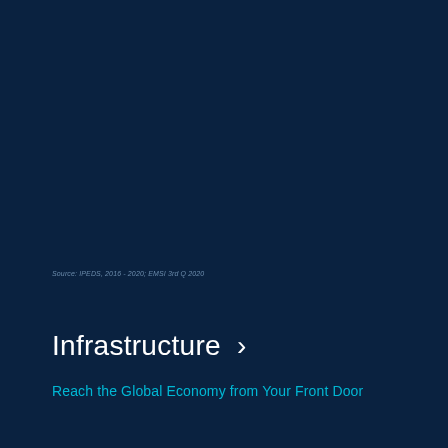Source: IPEDS, 2016 - 2020; EMSI 3rd Q 2020
Infrastructure  ›
Reach the Global Economy from Your Front Door